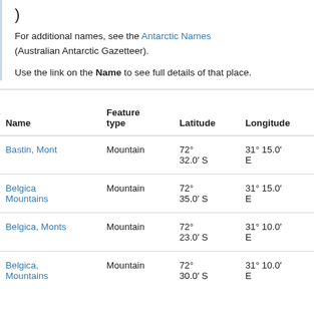)
For additional names, see the Antarctic Names (Australian Antarctic Gazetteer).
Use the link on the Name to see full details of that place.
| Name | Feature type | Latitude | Longitude | Distance and bearing |
| --- | --- | --- | --- | --- |
| Bastin, Mont | Mountain | 72° 32.0' S | 31° 15.0' E | 4.6 km 37° |
| Belgica Mountains | Mountain | 72° 35.0' S | 31° 15.0' E | 3.3 km 124° |
| Belgica, Monts | Mountain | 72° 23.0' S | 31° 10.0' E | 20.4 km at 0° |
| Belgica, Mountains | Mountain | 72° 30.0' S | 31° 10.0' E | 7.4 km 0° |